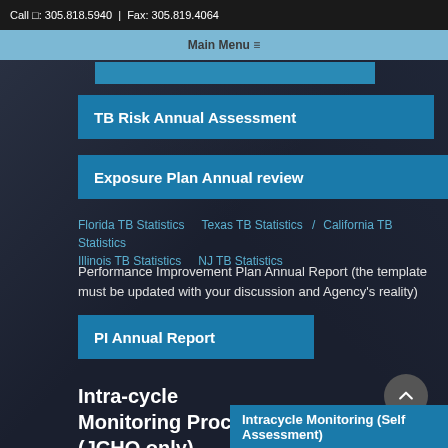Call □: 305.818.5940 | Fax: 305.819.4064
Main Menu ≡
TB Risk Annual Assessment
Exposure Plan Annual review
Florida TB Statistics  Texas TB Statistics  California TB Statistics  Illinois TB Statistics  NJ TB Statistics
Performance Improvement Plan Annual Report (the template must be updated with your discussion and Agency's reality)
PI Annual Report
Intra-cycle Monitoring Process (JCHO only)
Intracycle Monitoring (Self Assessment)